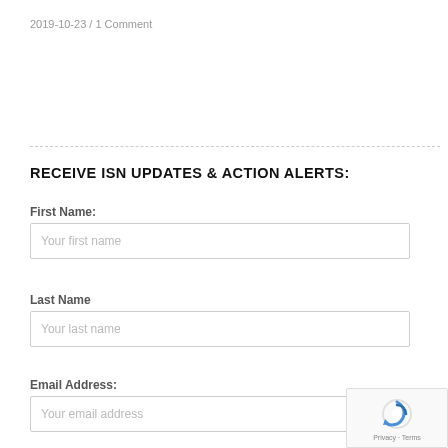2019-10-23 / 1 Comment
RECEIVE ISN UPDATES & ACTION ALERTS:
First Name:
Your first name
Last Name
Your last name
Email Address:
Your email address